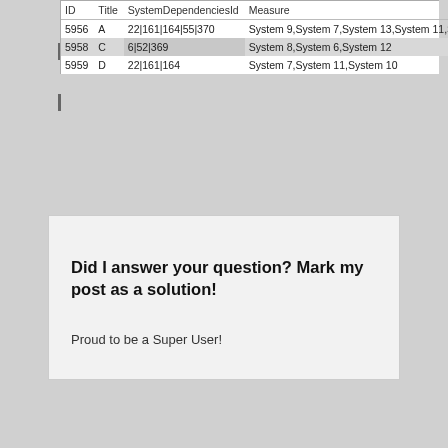| ID | Title | SystemDependenciesId | Measure |
| --- | --- | --- | --- |
| 5956 | A | 22|161|164|55|370 | System 9,System 7,System 13,System 11,System 10 |
| 5958 | C | 6|52|369 | System 8,System 6,System 12 |
| 5959 | D | 22|161|164 | System 7,System 11,System 10 |
Did I answer your question? Mark my post as a solution!
Proud to be a Super User!